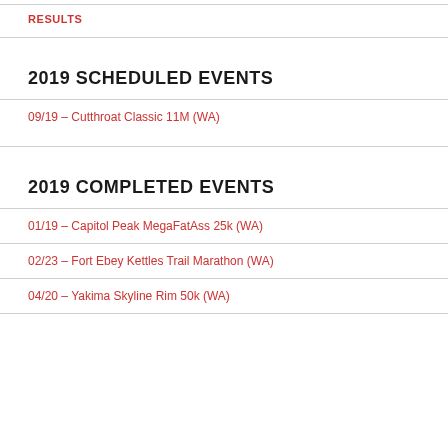RESULTS
2019 SCHEDULED EVENTS
09/19 – Cutthroat Classic 11M (WA)
2019 COMPLETED EVENTS
01/19 – Capitol Peak MegaFatAss 25k (WA)
02/23 – Fort Ebey Kettles Trail Marathon (WA)
04/20 – Yakima Skyline Rim 50k (WA)